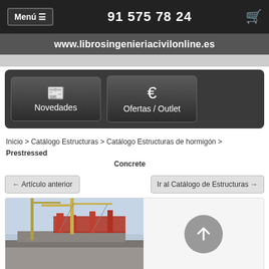Menú ≡   91 575 78 24   🛒
www.librosingenieriacivilonline.es
[Figure (screenshot): Navigation menu buttons: Novedades (newspaper icon) and Ofertas / Outlet (euro sign icon) on dark background]
Inicio > Catálogo Estructuras > Catálogo Estructuras de hormigón > Prestressed Concrete
← Artículo anterior    Ir al Catálogo de Estructuras →
[Figure (photo): Construction site photo showing a bridge or elevated structure under construction with cranes and red steel framework against a light blue sky.]